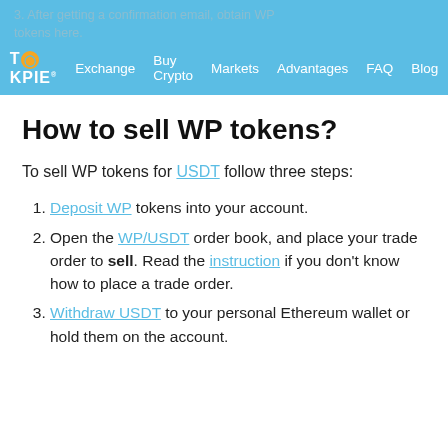3. After getting a confirmation email, obtain WP tokens here.
TOKPIE | Exchange  Buy Crypto  Markets  Advantages  FAQ  Blog
How to sell WP tokens?
To sell WP tokens for USDT follow three steps:
Deposit WP tokens into your account.
Open the WP/USDT order book, and place your trade order to sell. Read the instruction if you don't know how to place a trade order.
Withdraw USDT to your personal Ethereum wallet or hold them on the account.